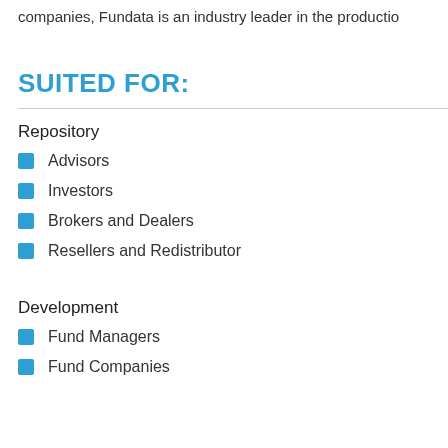companies, Fundata is an industry leader in the productio...
SUITED FOR:
Repository
Advisors
Investors
Brokers and Dealers
Resellers and Redistributor
Development
Fund Managers
Fund Companies